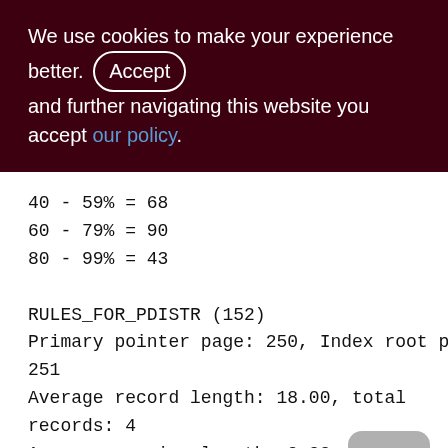We use cookies to make your experience better. By accepting and further navigating this website you accept our policy.
40 - 59% = 68
60 - 79% = 90
80 - 99% = 43
RULES_FOR_PDISTR (152)
Primary pointer page: 250, Index root page: 251
Average record length: 18.00, total records: 4
Average version length: 0.00, total versions: 0, max versions: 0
Data pages: 1, data page slots: 1, average